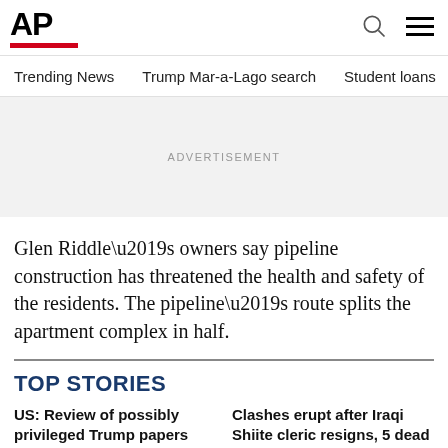AP
Trending News | Trump Mar-a-Lago search | Student loans | U.S.
ADVERTISEMENT
Glen Riddle’s owners say pipeline construction has threatened the health and safety of the residents. The pipeline’s route splits the apartment complex in half.
TOP STORIES
US: Review of possibly privileged Trump papers already over
Clashes erupt after Iraqi Shiite cleric resigns, 5 dead